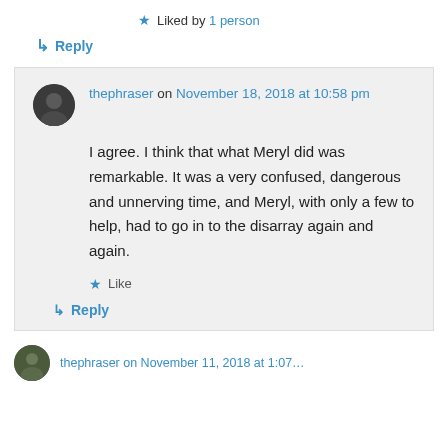★ Liked by 1 person
↳ Reply
thephraser on November 18, 2018 at 10:58 pm
I agree. I think that what Meryl did was remarkable. It was a very confused, dangerous and unnerving time, and Meryl, with only a few to help, had to go in to the disarray again and again.
★ Like
↳ Reply